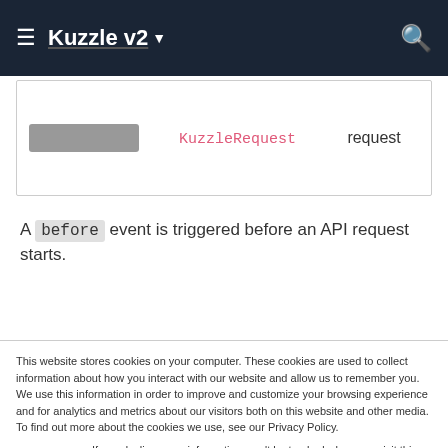Kuzzle v2
|  | KuzzleRequest | request |
| --- | --- | --- |
A before event is triggered before an API request starts.
This website stores cookies on your computer. These cookies are used to collect information about how you interact with our website and allow us to remember you. We use this information in order to improve and customize your browsing experience and for analytics and metrics about our visitors both on this website and other media. To find out more about the cookies we use, see our Privacy Policy.
If you decline, your information won't be tracked when you visit this website. A single cookie will be used in your browser to remember your preference not to be tracked.
Services we would like to use
Accept
Decline